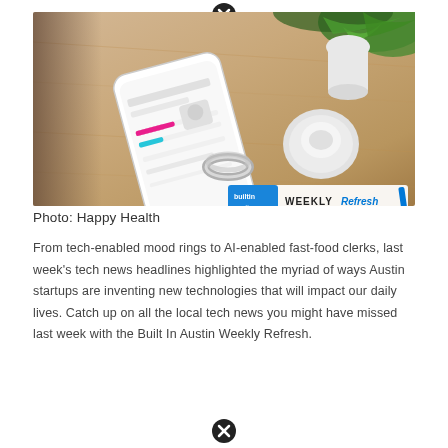[Figure (photo): Photo of a smartphone, a smart ring, and a small round white device on a light wood surface with green plants in background. Bottom right corner has a 'Built In Weekly Refresh' logo overlay.]
Photo: Happy Health
From tech-enabled mood rings to AI-enabled fast-food clerks, last week's tech news headlines highlighted the myriad of ways Austin startups are inventing new technologies that will impact our daily lives. Catch up on all the local tech news you might have missed last week with the Built In Austin Weekly Refresh.